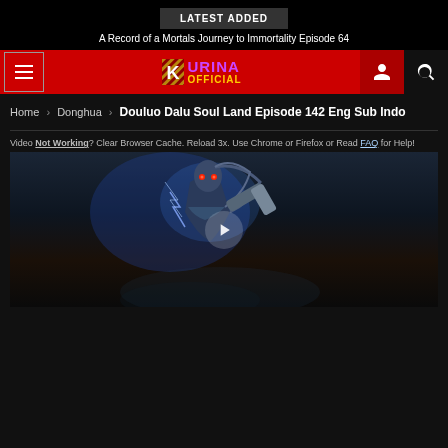LATEST ADDED
A Record of a Mortals Journey to Immortality Episode 64
[Figure (logo): Kurina Official logo with stylized K and text on red navigation bar]
Home > Donghua > Douluo Dalu Soul Land Episode 142 Eng Sub Indo
Video Not Working? Clear Browser Cache. Reload 3x. Use Chrome or Firefox or Read FAQ for Help!
[Figure (screenshot): Video player showing anime character from Douluo Dalu Soul Land with play button overlay]